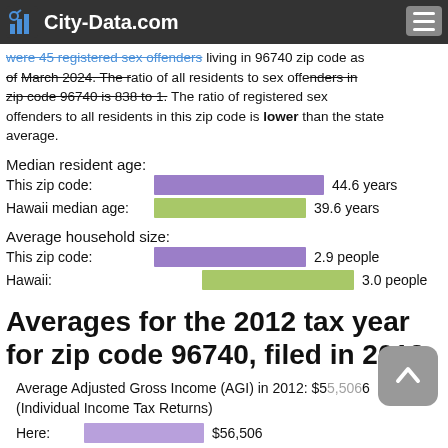City-Data.com
were 45 registered sex offenders living in 96740 zip code as of March 2024. The ratio of all residents to sex offenders in zip code 96740 is 838 to 1. The ratio of registered sex offenders to all residents in this zip code is lower than the state average.
Median resident age:
[Figure (bar-chart): Median resident age]
Average household size:
[Figure (bar-chart): Average household size]
Averages for the 2012 tax year for zip code 96740, filed in 2013:
Average Adjusted Gross Income (AGI) in 2012: $55,506 (Individual Income Tax Returns)
Here: $56,506